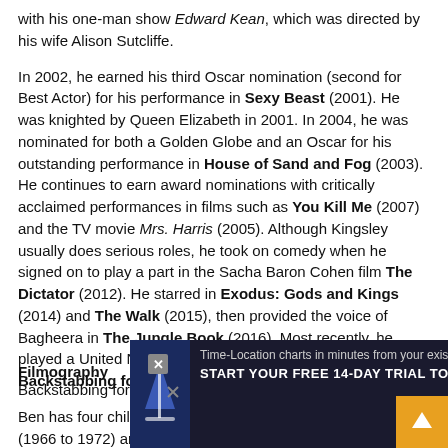with his one-man show Edward Kean, which was directed by his wife Alison Sutcliffe.
In 2002, he earned his third Oscar nomination (second for Best Actor) for his performance in Sexy Beast (2001). He was knighted by Queen Elizabeth in 2001. In 2004, he was nominated for both a Golden Globe and an Oscar for his outstanding performance in House of Sand and Fog (2003). He continues to earn award nominations with critically acclaimed performances in films such as You Kill Me (2007) and the TV movie Mrs. Harris (2005). Although Kingsley usually does serious roles, he took on comedy when he signed on to play a part in the Sacha Baron Cohen film The Dictator (2012). He starred in Exodus: Gods and Kings (2014) and The Walk (2015), then provided the voice of Bagheera in The Jungle Book (2016). Most recently, he played a United Nations undersecretary in the thriller Backstabbing for Beginners (2018).
Ben has four children: two with his first wife, Angela Morant (1966 to 1972) and two with his second wife, Alison Sutcliffe (1978 to 1992). He is divorced from third wife, Alexandra Christma...
Filmography
Backstabbing for Beginners...
[Figure (other): Advertisement overlay: Time-Location charts in minutes from existing project schedule data. START YOUR FREE 14-DAY TRIAL TODAY. With close button (X) and up navigation button.]